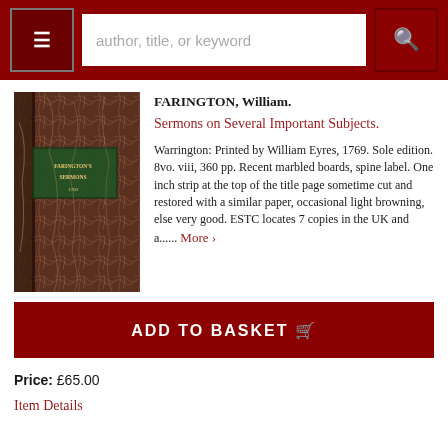author, title, or keyword
FARINGTON, William.
Sermons on Several Important Subjects.
Warrington: Printed by William Eyres, 1769. Sole edition. 8vo. viii, 360 pp. Recent marbled boards, spine label. One inch strip at the top of the title page sometime cut and restored with a similar paper, occasional light browning, else very good. ESTC locates 7 copies in the UK and a...... More ›
[Figure (photo): Photograph of an antique book with marbled brown covers, spine visible with label reading FARINGTON'S SERMONS 1769]
ADD TO BASKET
Price: £65.00
Item Details